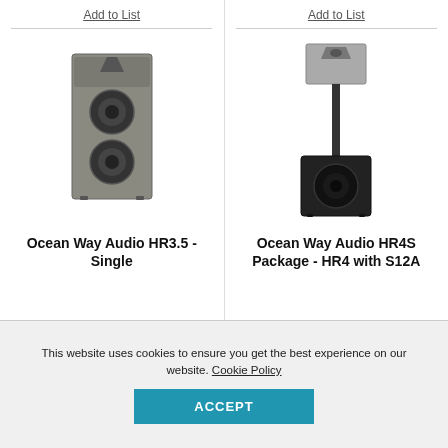Add to List
[Figure (photo): Ocean Way Audio HR3.5 studio monitor speaker, grey/silver rectangular cabinet with multiple drivers]
Ocean Way Audio HR3.5 - Single
Add to List
[Figure (photo): Ocean Way Audio HR4S Package - HR4 with S12A, satellite speaker on a pole mount above a subwoofer cube, black]
Ocean Way Audio HR4S Package - HR4 with S12A
This website uses cookies to ensure you get the best experience on our website. Cookie Policy
ACCEPT